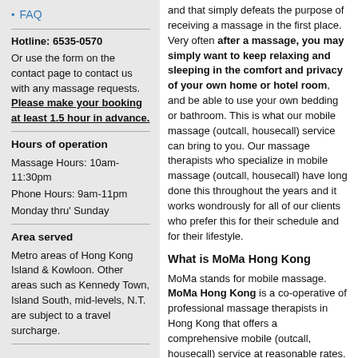FAQ
Hotline: 6535-0570
Or use the form on the contact page to contact us with any massage requests. Please make your booking at least 1.5 hour in advance.
Hours of operation
Massage Hours: 10am-11:30pm
Phone Hours: 9am-11pm
Monday thru' Sunday
Area served
Metro areas of Hong Kong Island & Kowloon. Other areas such as Kennedy Town, Island South, mid-levels, N.T. are subject to a travel surcharge.
and that simply defeats the purpose of receiving a massage in the first place. Very often after a massage, you may simply want to keep relaxing and sleeping in the comfort and privacy of your own home or hotel room, and be able to use your own bedding or bathroom. This is what our mobile massage (outcall, housecall) service can bring to you. Our massage therapists who specialize in mobile massage (outcall, housecall) have long done this throughout the years and it works wonderfully for all of our clients who prefer this for their schedule and for their lifestyle.
What is MoMa Hong Kong
MoMa stands for mobile massage. MoMa Hong Kong is a co-operative of professional massage therapists in Hong Kong that offers a comprehensive mobile (outcall, housecall) service at reasonable rates. MoMa Hong Kong is affiliated with the Hong Kong Federation Of Professional Massage Therapists. All of us are professionally trained and certified by recognized institutes and training organizations in Taiwan, Hong Kong or Singapore and have undergone at least 550 hours of practical and classroom training. Our practicing experience ranges from a minimum of 3 to 9 years. And we don't just stop there. All of us keep attending industry conferences and trainings from time